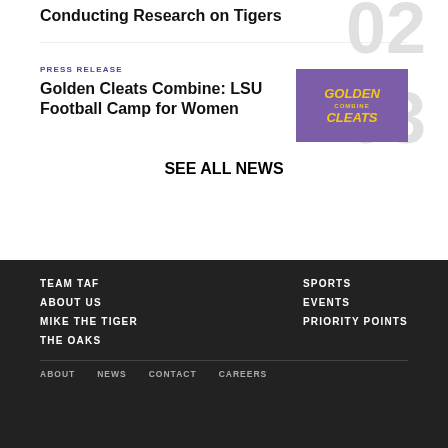Conducting Research on Tigers
PRESS RELEASE
Golden Cleats Combine: LSU Football Camp for Women
[Figure (logo): Golden Cleats logo on purple background with gold text reading GOLDEN CLEATS]
SEE ALL NEWS
TEAM TAF
ABOUT US
MIKE THE TIGER
THE OAKS
SPORTS
EVENTS
PRIORITY POINTS
ABOUT   NEWS   CONTACT   CAREERS